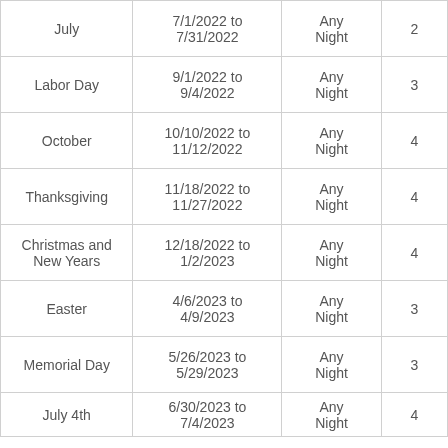| July | 7/1/2022 to 7/31/2022 | Any Night | 2 |
| Labor Day | 9/1/2022 to 9/4/2022 | Any Night | 3 |
| October | 10/10/2022 to 11/12/2022 | Any Night | 4 |
| Thanksgiving | 11/18/2022 to 11/27/2022 | Any Night | 4 |
| Christmas and New Years | 12/18/2022 to 1/2/2023 | Any Night | 4 |
| Easter | 4/6/2023 to 4/9/2023 | Any Night | 3 |
| Memorial Day | 5/26/2023 to 5/29/2023 | Any Night | 3 |
| July 4th | 6/30/2023 to 7/4/2023 | Any Night | 4 |